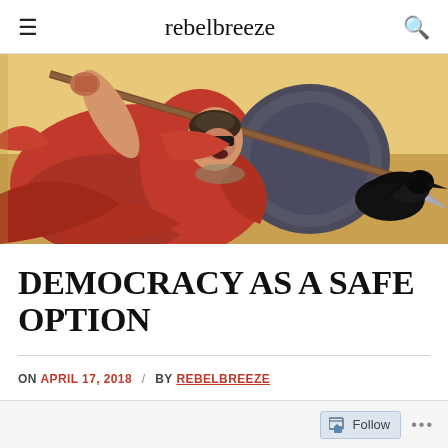rebelbreeze
[Figure (illustration): Painting of a warrior figure in red robes with a spear and shield, with a black crow/raven, in a classical art style. Yellow and red tones dominate.]
DEMOCRACY AS A SAFE OPTION
ON APRIL 17, 2018 / BY REBELBREEZE
Follow